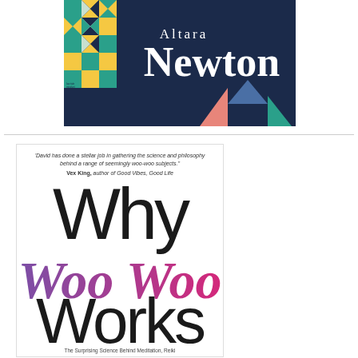[Figure (illustration): Top portion of a book cover showing dark navy background with a geometric quilt pattern on the left side (teal, yellow, white triangles and squares) and author name 'Altara Newton' in white serif font on the right, with colorful triangles at the bottom.]
[Figure (illustration): Book cover for 'Why Woo Woo Works' by David Hamilton. White background with a quote at top from Vex King. Title rendered in large thin sans-serif for 'Why' and 'Works', with 'Woo Woo' in large cursive gradient purple-to-pink font. Subtitle at bottom mentions 'The Surprising Science Behind Meditation, Reiki...'.]